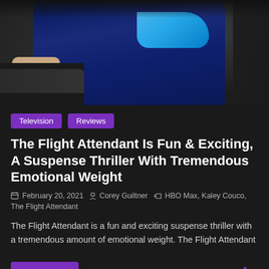[Figure (photo): Photo of a flight attendant in a dark navy blue uniform on an airplane, partially cropped showing upper body]
Television  Reviews
The Flight Attendant Is Fun & Exciting, A Suspense Thriller With Tremendous Emotional Weight
February 20, 2021  Corey Guiltner  HBO Max, Kaley Couco, The Flight Attendant
The Flight Attendant is a fun and exciting suspense thriller with a tremendous amount of emotional weight. The Flight Attendant
Read more